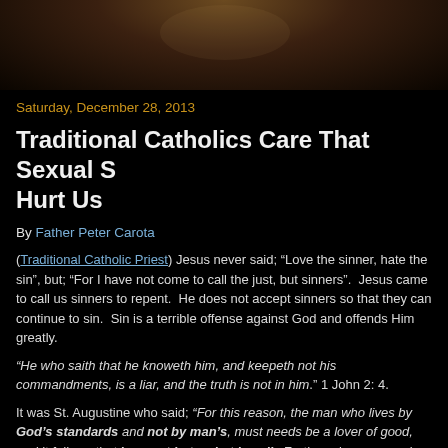[Figure (photo): Top portion of a religious painting or artwork, partially visible, dark background with warm brown tones]
Saturday, December 28, 2013
Traditional Catholics Care That Sexual S... Hurt Us
By Father Peter Carota
(Traditional Catholic Priest) Jesus never said; “Love the sinner, hate the sin”, but; “For I have not come to call the just, but sinners”.  Jesus came to call us sinners to repent.  He does not accept sinners so that they can continue to sin.  Sin is a terrible offense against God and offends Him greatly.
“He who saith that he knoweth him, and keepeth not his commandments, is a liar, and the truth is not in him.” 1 John 2: 4.
It was St. Augustine who said; “For this reason, the man who lives by God’s standards and not by man’s, must needs be a lover of good, and it follows that he must hate what is evil.  Further, since no one is